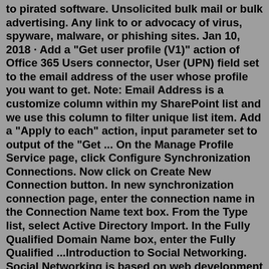to pirated software. Unsolicited bulk mail or bulk advertising. Any link to or advocacy of virus, spyware, malware, or phishing sites. Jan 10, 2018 · Add a "Get user profile (V1)" action of Office 365 Users connector, User (UPN) field set to the email address of the user whose profile you want to get. Note: Email Address is a customize column within my SharePoint list and we use this column to filter unique list item. Add a "Apply to each" action, input parameter set to output of the "Get ... On the Manage Profile Service page, click Configure Synchronization Connections. Now click on Create New Connection button. In new synchronization connection page, enter the connection name in the Connection Name text box. From the Type list, select Active Directory Import. In the Fully Qualified Domain Name box, enter the Fully Qualified ...Introduction to Social Networking. Social Networking is based on web development on communication media that enables the users to have discussions, share the data or knowledge and create content. The network is shared